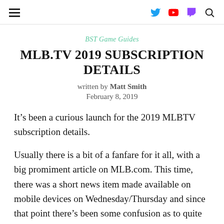BST Game Guides — navigation header with hamburger menu and social icons
BST Game Guides
MLB.TV 2019 SUBSCRIPTION DETAILS
written by Matt Smith
February 8, 2019
It's been a curious launch for the 2019 MLBTV subscription details.
Usually there is a bit of a fanfare for it all, with a big promiment article on MLB.com. This time, there was a short news item made available on mobile devices on Wednesday/Thursday and since that point there's been some confusion as to quite what is happening.